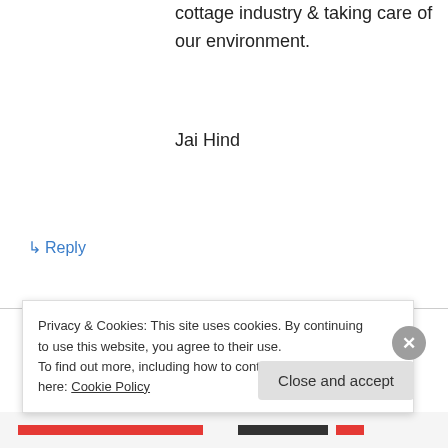cottage industry & taking care of our environment.
Jai Hind
↳ Reply
malaya ray on August 22, 2016 at 5:56 am
Need survey project for odisha
↳ Reply
Privacy & Cookies: This site uses cookies. By continuing to use this website, you agree to their use.
To find out more, including how to control cookies, see here: Cookie Policy
Close and accept